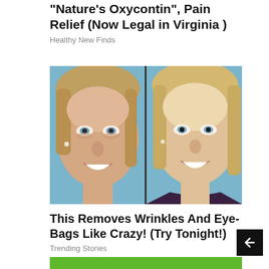"Nature's Oxycontin", Pain Relief (Now Legal in Virginia )
Healthy New Finds
[Figure (photo): Side-by-side before and after photos of two smiling blonde women against a blue background, used in an advertisement about wrinkle and eye-bag removal.]
This Removes Wrinkles And Eye-Bags Like Crazy! (Try Tonight!)
Trending Stories